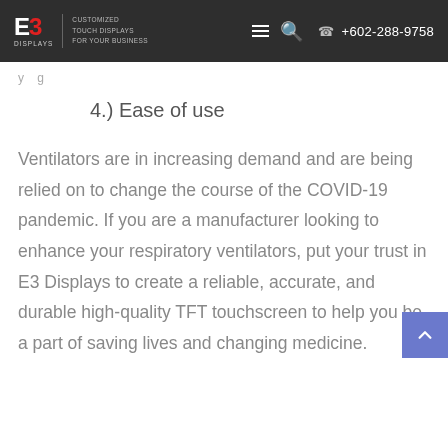E3 Displays | Customized Touch Displays For Your Business | +602-288-9758
4.) Ease of use
Ventilators are in increasing demand and are being relied on to change the course of the COVID-19 pandemic. If you are a manufacturer looking to enhance your respiratory ventilators, put your trust in E3 Displays to create a reliable, accurate, and durable high-quality TFT touchscreen to help you be a part of saving lives and changing medicine.